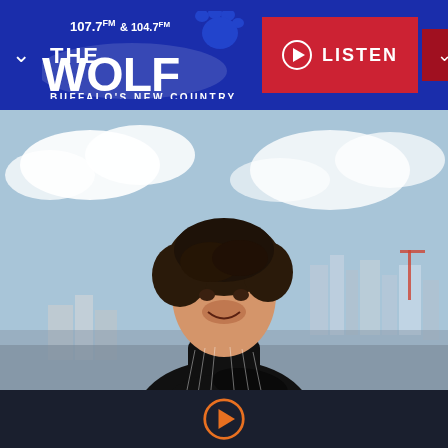[Figure (logo): 107.7 & 104.7 The Wolf - Buffalo's New Country radio station logo with wolf paw print and LISTEN button]
[Figure (photo): Young man with curly dark hair, wearing black turtleneck and black pinstripe vest, arms crossed, smiling, with city skyline and blue sky background]
[Figure (other): Orange play button icon on dark navy background]